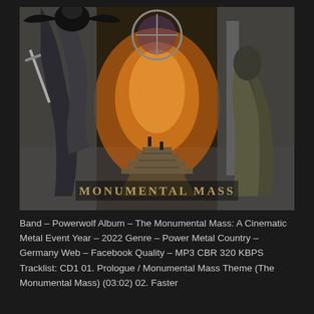[Figure (illustration): Album cover art for 'Monumental Mass' by Powerwolf. Fantasy/dark medieval illustration showing armored warriors with cloaks in a stone cathedral setting. A large figure with a raven/crow on the left wielding a sword, a cloaked figure on the right, and smaller figures on stairs in the background with orange glowing light. Gothic rose window visible in upper center. Text 'MONUMENTAL MASS' in stylized letters at the bottom of the image.]
Band – Powerwolf Album – The Monumental Mass: A Cinematic Metal Event Year – 2022 Genre – Power Metal Country – Germany Web – Facebook Quality – MP3 CBR 320 KBPS Tracklist: CD1 01. Prologue / Monumental Mass Theme (The Monumental Mass) (03:02) 02. Faster